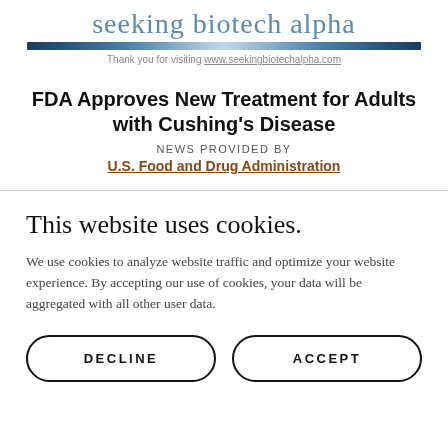seeking biotech alpha
Thank you for visiting www.seekingbiotechalpha.com
FDA Approves New Treatment for Adults with Cushing's Disease
NEWS PROVIDED BY
U.S. Food and Drug Administration
This website uses cookies.
We use cookies to analyze website traffic and optimize your website experience. By accepting our use of cookies, your data will be aggregated with all other user data.
DECLINE
ACCEPT